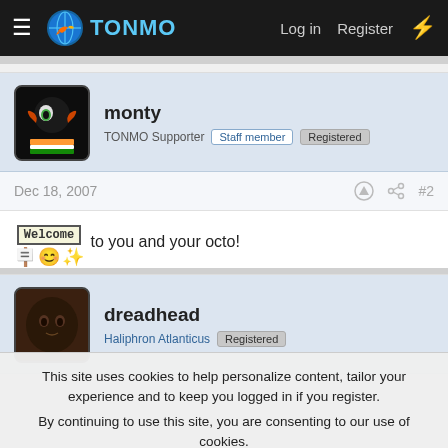TONMO | Log in | Register
monty
TONMO Supporter | Staff member | Registered
Dec 18, 2007  #2
[Welcome sign emoji] to you and your octo!
dreadhead
Haliphron Atlanticus | Registered
This site uses cookies to help personalize content, tailor your experience and to keep you logged in if you register.
By continuing to use this site, you are consenting to our use of cookies.
Accept  Learn more...